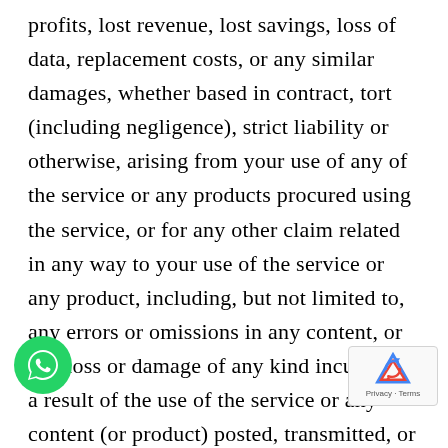profits, lost revenue, lost savings, loss of data, replacement costs, or any similar damages, whether based in contract, tort (including negligence), strict liability or otherwise, arising from your use of any of the service or any products procured using the service, or for any other claim related in any way to your use of the service or any product, including, but not limited to, any errors or omissions in any content, or any loss or damage of any kind incurred as a result of the use of the service or any content (or product) posted, transmitted, or otherwise made available via the service, even if advised of their possibility. Because some states or jurisdictions do not allow the exclusion or the limitation of liability for consequential or incidental damages, in such